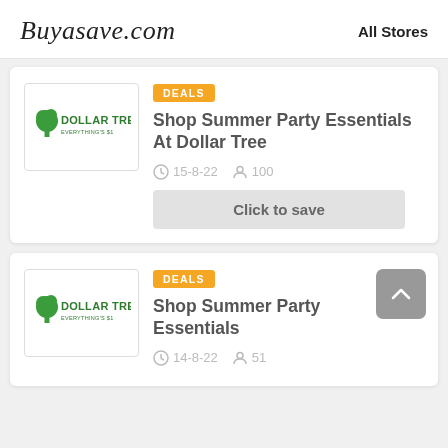Buyasave.com — All Stores
[Figure (logo): Dollar Tree logo with green tree icon and brand name]
DEALS
Shop Summer Party Essentials At Dollar Tree
15-8-22   100
Click to save
[Figure (logo): Dollar Tree logo with green tree icon and brand name]
DEALS
Shop Summer Party Essentials
14-8-22   51